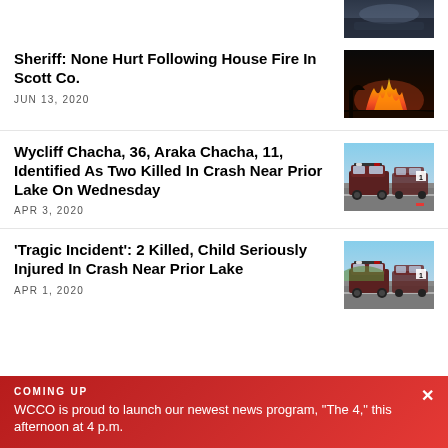[Figure (photo): Partial photo at top right, dark sky/smoke scene]
Sheriff: None Hurt Following House Fire In Scott Co.
JUN 13, 2020
[Figure (photo): House fire with large orange flames at night]
Wycliff Chacha, 36, Araka Chacha, 11, Identified As Two Killed In Crash Near Prior Lake On Wednesday
APR 3, 2020
[Figure (photo): Police SUVs parked on road, daytime]
'Tragic Incident': 2 Killed, Child Seriously Injured In Crash Near Prior Lake
APR 1, 2020
[Figure (photo): Police SUVs parked on road, daytime]
COMING UP
WCCO is proud to launch our newest news program, "The 4," this afternoon at 4 p.m.